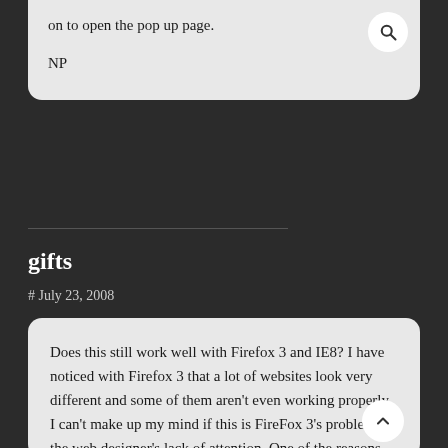on to open the pop up page.
NP
gifts
# July 23, 2008
Does this still work well with Firefox 3 and IE8? I have noticed with Firefox 3 that a lot of websites look very different and some of them aren't even working properly. I can't make up my mind if this is FireFox 3's problem or the web designer's lack of attention. One of the reasons why I always enjoyed Firefox was because any website would work pretty well (even if coded badly) but this seems to have changed in the new version.